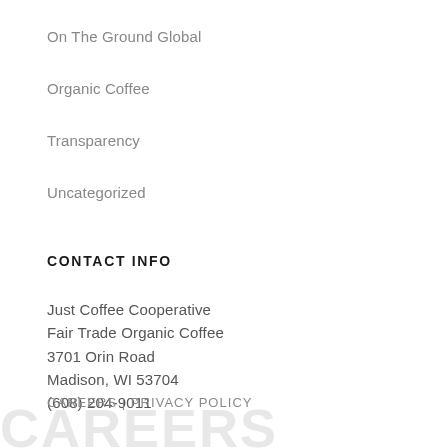On The Ground Global
Organic Coffee
Transparency
Uncategorized
CONTACT INFO
Just Coffee Cooperative
Fair Trade Organic Coffee
3701 Orin Road
Madison, WI 53704
(608) 204-9011
CAREERS | PRIVACY POLICY